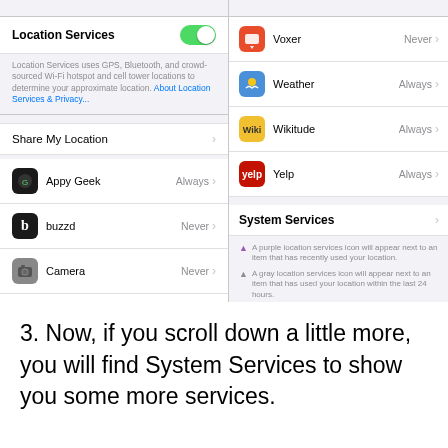[Figure (screenshot): iOS Settings screenshot showing Location Services panel on the left (with Location Services toggle on, location description text, Share My Location option, and app list including Appy Geek Always, buzzd Never, Camera Never, Camera+ Never, CheckPoints Always) and right panel showing app list (Voxer Never, Weather Always, Wikitude Always, Yelp Always), System Services option, and legend explaining purple/gray/outlined location icons and geofence description.]
3. Now, if you scroll down a little more, you will find System Services to show you some more services.